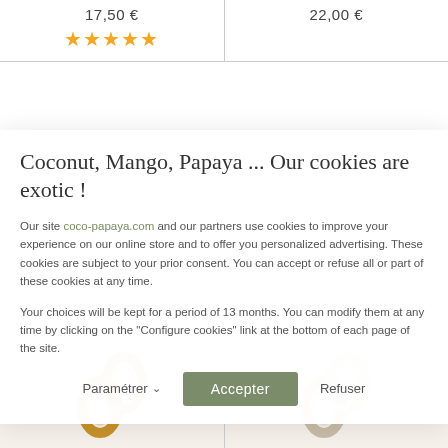17,50 €
[Figure (other): 5 gold star rating icons]
22,00 €
Coconut, Mango, Papaya ... Our cookies are exotic !
Our site coco-papaya.com and our partners use cookies to improve your experience on our online store and to offer you personalized advertising. These cookies are subject to your prior consent. You can accept or refuse all or part of these cookies at any time.
Your choices will be kept for a period of 13 months. You can modify them at any time by clicking on the "Configure cookies" link at the bottom of each page of the site.
Paramétrer ∨    Accepter    Refuser
[Figure (photo): Golden-tan twisted infinity-shaped cookie]
[Figure (photo): Light beige twisted infinity-shaped cookie]